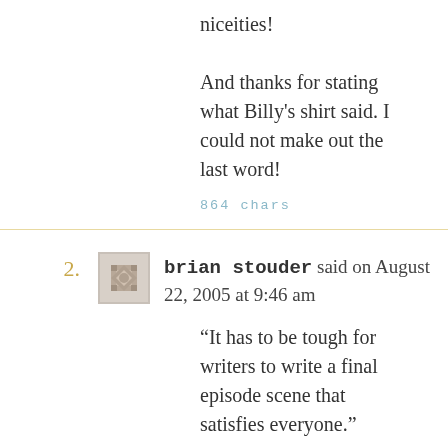niceities!

And thanks for stating what Billy's shirt said. I could not make out the last word!
864 chars
2. brian stouder said on August 22, 2005 at 9:46 am
“It has to be tough for writers to write a final episode scene that satisfies everyone.”
I confess that when I first read this sentence, I thought Dorothy was about to comment about the delightful finish of Nance’s ‘Sunday Trifle’! Not for nothing,